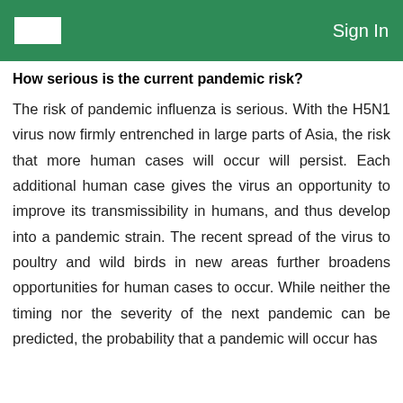Sign In
How serious is the current pandemic risk?
The risk of pandemic influenza is serious. With the H5N1 virus now firmly entrenched in large parts of Asia, the risk that more human cases will occur will persist. Each additional human case gives the virus an opportunity to improve its transmissibility in humans, and thus develop into a pandemic strain. The recent spread of the virus to poultry and wild birds in new areas further broadens opportunities for human cases to occur. While neither the timing nor the severity of the next pandemic can be predicted, the probability that a pandemic will occur has